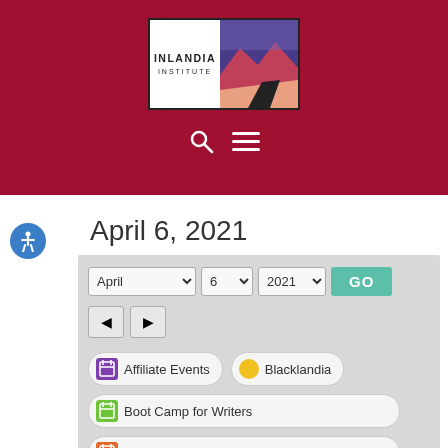[Figure (logo): Inlandia Institute logo — text on white background left, stylized desert road landscape illustration on right, dark border]
[Figure (infographic): Search icon (magnifying glass) and hamburger menu icon in white on dark red header background]
April 6, 2021
[Figure (screenshot): Calendar date filter widget with dropdowns for April, 6, 2021 and a GO button, back/forward navigation arrows, and event category filter buttons: Affiliate Events, Blacklandia, Boot Camp for Writers, Creative Writing Workshops]
Affiliate Events
Blacklandia
Boot Camp for Writers
Creative Writing Workshops